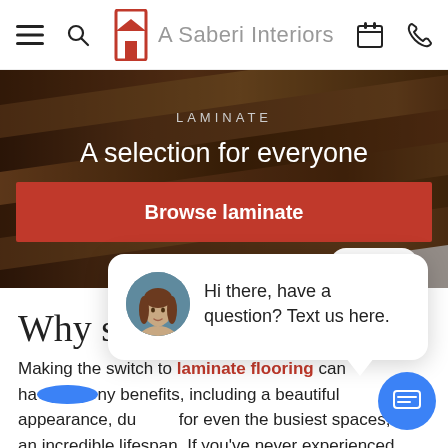A Saberi Interiors — navigation bar with menu, search, logo, calendar, phone icons
[Figure (photo): Hero banner showing dark wood laminate flooring with text overlay 'LAMINATE / A selection for everyone' and a red Browse laminate button and a close button]
[Figure (screenshot): Chat popup with female avatar photo and text: Hi there, have a question? Text us here.]
Why swit
Making the switch to laminate flooring can have many benefits, including a beautiful appearance, durable for even the busiest spaces, and an incredible lifespan. If you've never experienced laminate, you might have